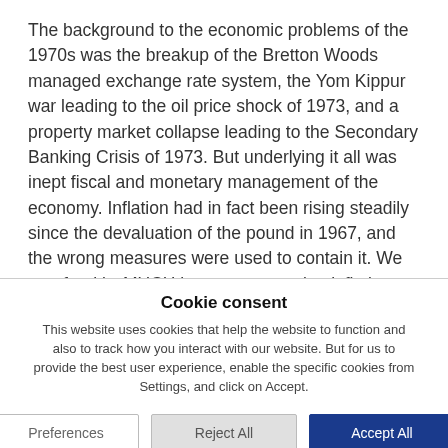The background to the economic problems of the 1970s was the breakup of the Bretton Woods managed exchange rate system, the Yom Kippur war leading to the oil price shock of 1973, and a property market collapse leading to the Secondary Banking Crisis of 1973. But underlying it all was inept fiscal and monetary management of the economy. Inflation had in fact been rising steadily since the devaluation of the pound in 1967, and the wrong measures were used to contain it. We are, frankly, MUCH better at managing inflation now. Yes, we have had slightly higher inflation than we would really like in the last few years. But in no way has inflation been allowed to
Cookie consent
This website uses cookies that help the website to function and also to track how you interact with our website. But for us to provide the best user experience, enable the specific cookies from Settings, and click on Accept.
Preferences
Reject All
Accept All